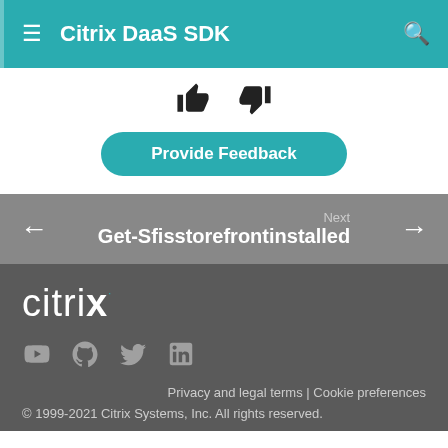Citrix DaaS SDK
[Figure (other): Thumbs up and thumbs down icons for feedback rating]
Provide Feedback
Next
Get-Sfisstorefrontinstalled
[Figure (logo): Citrix logo in white on dark grey background]
[Figure (other): Social media icons: YouTube, GitHub, Twitter, LinkedIn]
Privacy and legal terms | Cookie preferences
© 1999-2021 Citrix Systems, Inc. All rights reserved.